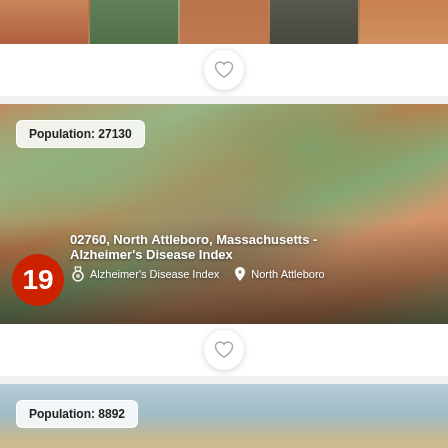[Figure (photo): Aerial view of suburban neighborhood with orange/terracotta rooftops — top strip of first card]
[Figure (photo): Aerial view of suburban neighborhood with orange rooftops, green trees, roads, and pools. Population badge shows 27130. Card title: 02760, North Attleboro, Massachusetts - Alzheimer's Disease Index. Tags: Alzheimer's Disease Index, North Attleboro. Rank badge: 19]
[Figure (photo): Coastal/beach aerial or landscape photo. Population badge shows 8892.]